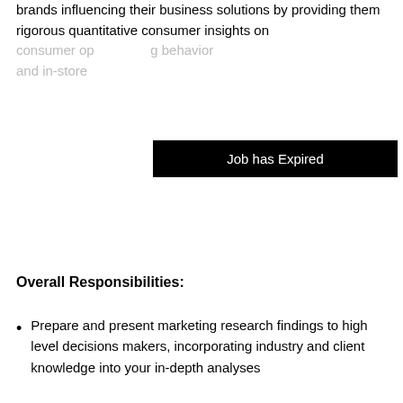brands influencing their business solutions by providing them rigorous quantitative consumer insights on consumer op[...] behavior and in-store [...]
Job has Expired
Overall Responsibilities:
Prepare and present marketing research findings to high level decisions makers, incorporating industry and client knowledge into your in-depth analyses
Couple your analytical abilities to use data, with your growing industry knowledge to make recommendations to clients about: new business opportunities, new product development, marketing strategies, sales performance
This website uses cookies to ensure you get the best experience. read more
Got it!